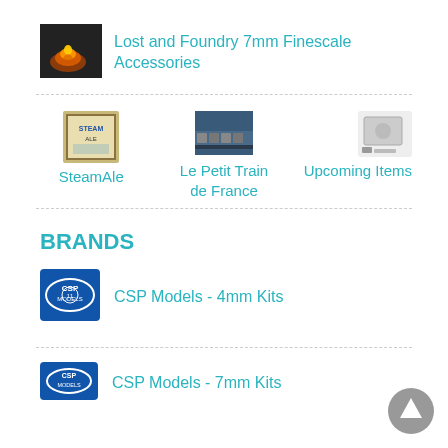[Figure (photo): Orange glowing molten metal being poured, thumbnail for Lost and Foundry]
Lost and Foundry 7mm Finescale Accessories
[Figure (photo): SteamAle framed poster/book cover thumbnail]
[Figure (photo): Le Petit Train de France train photo thumbnail]
Le Petit Train de France
[Figure (photo): Camera/upcoming items icon thumbnail]
SteamAle
Upcoming Items
BRANDS
[Figure (logo): CSP Models blue oval logo badge]
CSP Models - 4mm Kits
[Figure (logo): CSP Models blue logo badge, partial]
CSP Models - 7mm Kits